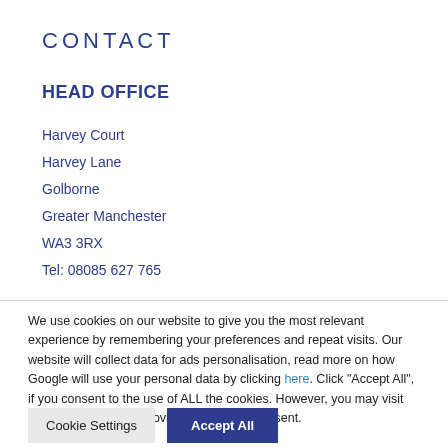CONTACT
HEAD OFFICE
Harvey Court
Harvey Lane
Golborne
Greater Manchester
WA3 3RX
Tel: 08085 627 765
We use cookies on our website to give you the most relevant experience by remembering your preferences and repeat visits. Our website will collect data for ads personalisation, read more on how Google will use your personal data by clicking here. Click "Accept All", if you consent to the use of ALL the cookies. However, you may visit "Cookie Settings" to provide a controlled consent.
Cookie Settings | Accept All